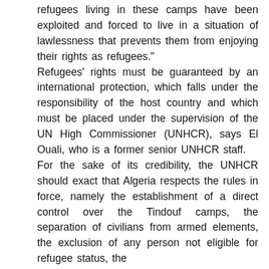refugees living in these camps have been exploited and forced to live in a situation of lawlessness that prevents them from enjoying their rights as refugees."
Refugees' rights must be guaranteed by an international protection, which falls under the responsibility of the host country and which must be placed under the supervision of the UN High Commissioner (UNHCR), says El Ouali, who is a former senior UNHCR staff.
For the sake of its credibility, the UNHCR should exact that Algeria respects the rules in force, namely the establishment of a direct control over the Tindouf camps, the separation of civilians from armed elements, the exclusion of any person not eligible for refugee status, the